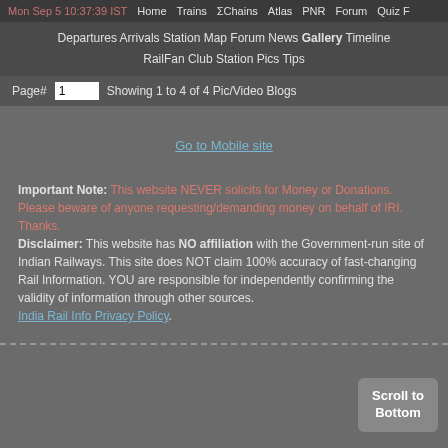Mon Sep 5 10:37:39 IST  Home  Trains  ΣChains  Atlas  PNR  Forum  Quiz F
Departures  Arrivals  Station Map  Forum  News  Gallery  Timeline  RailFan Club  Station Pics  Tips
Page# 1  Showing 1 to 4 of 4 Pic/Video Blogs
Go to Mobile site
Important Note: This website NEVER solicits for Money or Donations. Please beware of anyone requesting/demanding money on behalf of IRI. Thanks.
Disclaimer: This website has NO affiliation with the Government-run site of Indian Railways. This site does NOT claim 100% accuracy of fast-changing Rail Information. YOU are responsible for independently confirming the validity of information through other sources.
India Rail Info Privacy Policy.
Scroll to Bottom